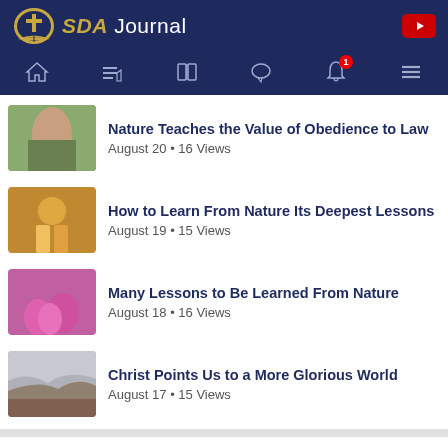SDA Journal
Nature Teaches the Value of Obedience to Law
August 20 • 16 Views
How to Learn From Nature Its Deepest Lessons
August 19 • 15 Views
Many Lessons to Be Learned From Nature
August 18 • 16 Views
Christ Points Us to a More Glorious World
August 17 • 15 Views
Discover People
Find more